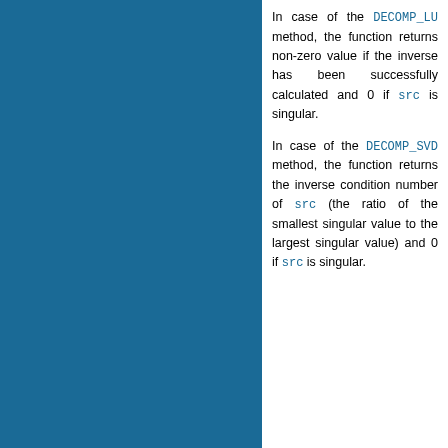In case of the DECOMP_LU method, the function returns non-zero value if the inverse has been successfully calculated and 0 if src is singular.
In case of the DECOMP_SVD method, the function returns the inverse condition number of src (the ratio of the smallest singular value to the largest singular value) and 0 if src is singular.